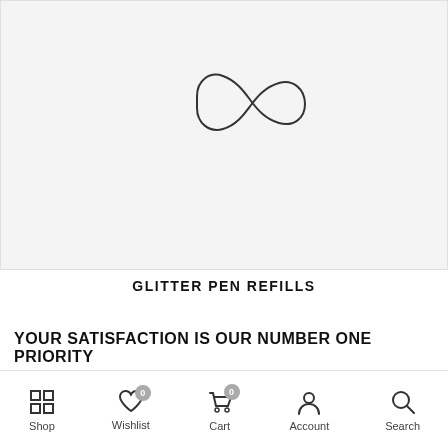[Figure (illustration): Light gray product image placeholder with a small hand-drawn style infinity loop / cursive logo mark centered near the top]
GLITTER PEN REFILLS
YOUR SATISFACTION IS OUR NUMBER ONE PRIORITY
Shop | Wishlist (0) | Cart (0) | Account | Search